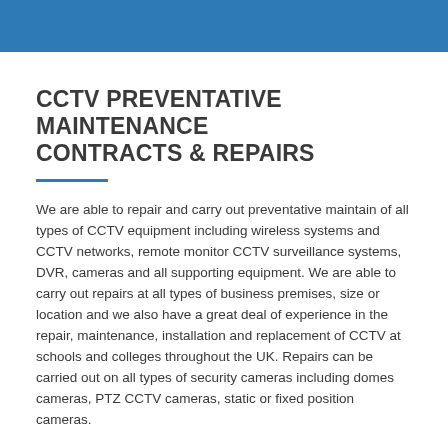CCTV PREVENTATIVE MAINTENANCE CONTRACTS & REPAIRS
We are able to repair and carry out preventative maintain of all types of CCTV equipment including wireless systems and CCTV networks, remote monitor CCTV surveillance systems, DVR, cameras and all supporting equipment. We are able to carry out repairs at all types of business premises, size or location and we also have a great deal of experience in the repair, maintenance, installation and replacement of CCTV at schools and colleges throughout the UK. Repairs can be carried out on all types of security cameras including domes cameras, PTZ CCTV cameras, static or fixed position cameras.
We can assist with all aspects of CCTV repair including: